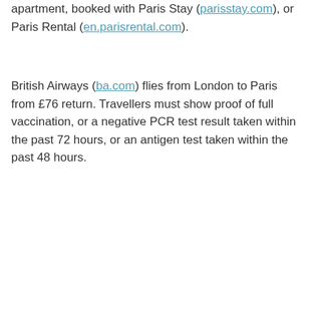apartment, booked with Paris Stay (parisstay.com), or Paris Rental (en.parisrental.com).
British Airways (ba.com) flies from London to Paris from £76 return. Travellers must show proof of full vaccination, or a negative PCR test result taken within the past 72 hours, or an antigen test taken within the past 48 hours.